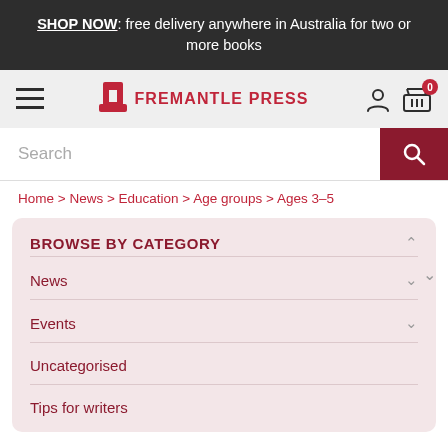SHOP NOW: free delivery anywhere in Australia for two or more books
[Figure (screenshot): Fremantle Press navigation bar with hamburger menu, logo, user icon, and cart icon with badge showing 0]
[Figure (screenshot): Search bar with search button]
Home > News > Education > Age groups > Ages 3-5
BROWSE BY CATEGORY
News
Events
Uncategorised
Tips for writers